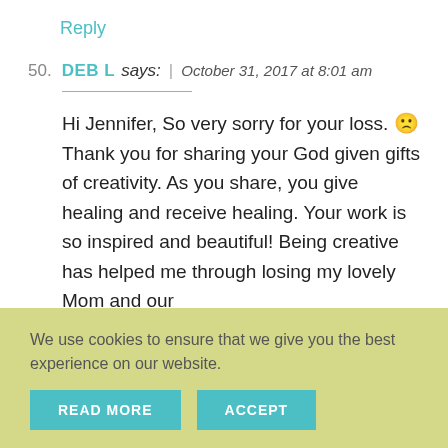Reply
50. DEB L says: | October 31, 2017 at 8:01 am
Hi Jennifer, So very sorry for your loss. ☹ Thank you for sharing your God given gifts of creativity. As you share, you give healing and receive healing. Your work is so inspired and beautiful! Being creative has helped me through losing my lovely Mom and our
We use cookies to ensure that we give you the best experience on our website.
READ MORE
ACCEPT